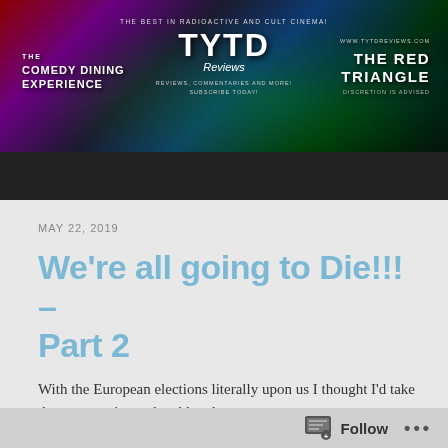[Figure (illustration): Website banner for TYTD Reviews showing colorful dark background with red, purple, green gradients. Left section shows 'THE COMEDY DINING EXPERIENCE', center shows 'THE BEST IN RADIOACTIVE AND CULT CINEMA! TYTD Reviews' logo with tagline, right shows 'THE RED TRIANGLE DISCRETION IS ADVISED' and website URL www.tytdreviews.com]
MAY 22, 2019
We're all going to Die!!! – Part 2
With the European elections literally upon us I thought I'd take the opportunity to do a blow by